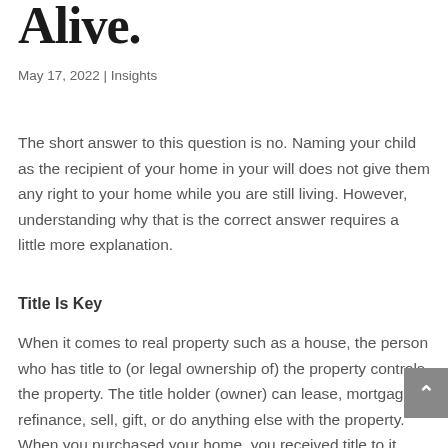Alive.
May 17, 2022 | Insights
The short answer to this question is no. Naming your child as the recipient of your home in your will does not give them any right to your home while you are still living. However, understanding why that is the correct answer requires a little more explanation.
Title Is Key
When it comes to real property such as a house, the person who has title to (or legal ownership of) the property controls the property. The title holder (owner) can lease, mortgage, refinance, sell, gift, or do anything else with the property. When you purchased your home, you received title to it through a deed. This deed